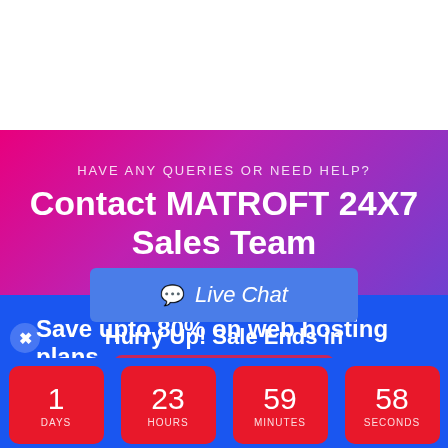HAVE ANY QUERIES OR NEED HELP?
Contact MATROFT 24X7 Sales Team
Live Chat
Save upto 80% on web hosting plans
Get it Now →
Hurry Up! Sale Ends in
| Value | Unit |
| --- | --- |
| 1 | DAYS |
| 23 | HOURS |
| 59 | MINUTES |
| 58 | SECONDS |